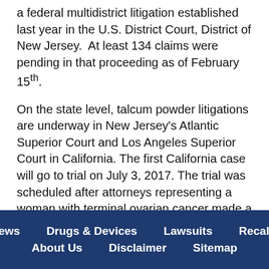a federal multidistrict litigation established last year in the U.S. District Court, District of New Jersey. At least 134 claims were pending in that proceeding as of February 15th.
On the state level, talcum powder litigations are underway in New Jersey's Atlantic Superior Court and Los Angeles Superior Court in California. The first California case will go to trial on July 3, 2017. The trial was scheduled after attorneys representing a woman with terminal ovarian cancer made a motion for trial preference, as she is not expected to live for more than six months.
News   Drugs & Devices   Lawsuits   Recalls   About Us   Disclaimer   Sitemap